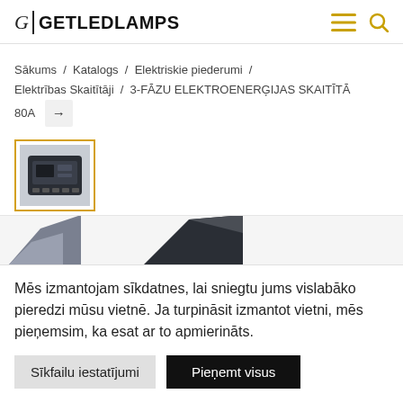G| GETLEDLAMPS
Sākums / Katalogs / Elektriskie piederumi / Elektrības Skaitītāji / 3-FĀZU ELEKTROENERĢIJAS SKAITĪTĀ 80A
[Figure (photo): Small product thumbnail of a dark 3-phase electricity meter in a yellow/orange bordered box]
[Figure (photo): Partial view of product images showing dark angled surfaces of electricity meters]
Mēs izmantojam sīkdatnes, lai sniegtu jums vislabāko pieredzi mūsu vietnē. Ja turpināsit izmantot vietni, mēs pieņemsim, ka esat ar to apmierināts.
Sīkfailu iestatījumi | Pieņemt visus